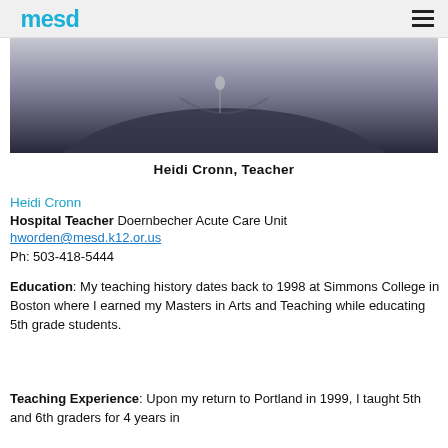mesd (logo) | hamburger menu
[Figure (photo): Partial photo of a person wearing dark clothing, cropped to show torso area with a gray/light background at top]
Heidi Cronn, Teacher
Heidi Cronn
Hospital Teacher Doernbecher Acute Care Unit
hworden@mesd.k12.or.us
Ph: 503-418-5444
Education: My teaching history dates back to 1998 at Simmons College in Boston where I earned my Masters in Arts and Teaching while educating 5th grade students.
Teaching Experience: Upon my return to Portland in 1999, I taught 5th and 6th graders for 4 years in